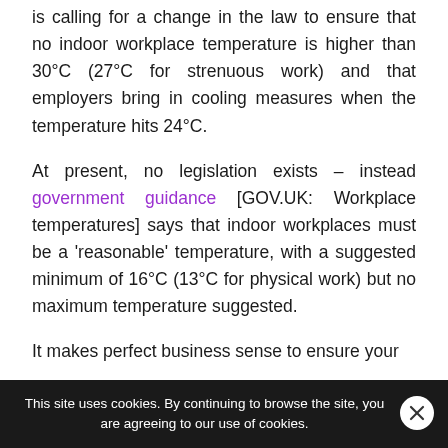is calling for a change in the law to ensure that no indoor workplace temperature is higher than 30°C (27°C for strenuous work) and that employers bring in cooling measures when the temperature hits 24°C.
At present, no legislation exists – instead government guidance [GOV.UK: Workplace temperatures] says that indoor workplaces must be a 'reasonable' temperature, with a suggested minimum of 16°C (13°C for physical work) but no maximum temperature suggested.
It makes perfect business sense to ensure your
This site uses cookies. By continuing to browse the site, you are agreeing to our use of cookies.